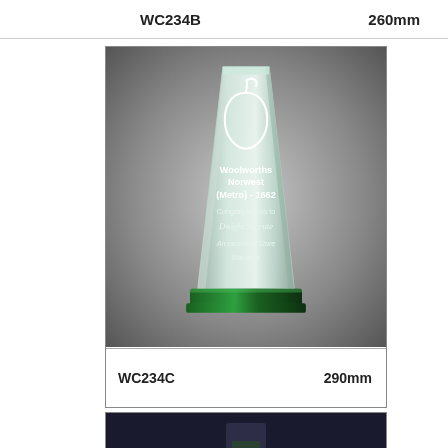WC234B   260mm
[Figure (photo): Crystal glass award trophy with a tapered obelisk shape on a green base. Engraved with an apple logo, 'Woolworths Norwest (Metro) - 1662', 'Congratulations to Dwight Schrute', 'An excellent Store Manager']
WC234C   290mm
[Figure (photo): Partial view of another crystal award trophy on dark background, barely visible at bottom of page]